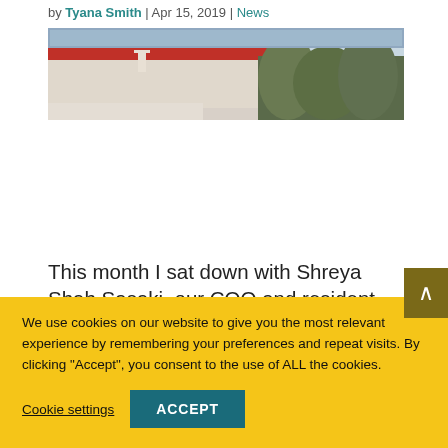by Tyana Smith | Apr 15, 2019 | News
[Figure (photo): Exterior photo of a building with a red roof and trees in the background]
This month I sat down with Shreya Shah Sasaki, our COO and resident social determinants of health and steadiness...
We use cookies on our website to give you the most relevant experience by remembering your preferences and repeat visits. By clicking "Accept", you consent to the use of ALL the cookies.
Cookie settings
ACCEPT